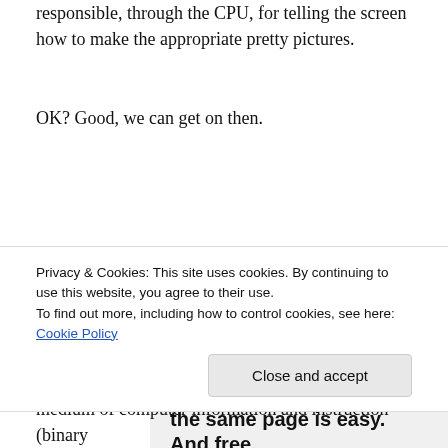responsible, through the CPU, for telling the screen how to make the appropriate pretty pictures.
OK? Good, we can get on then.
[Figure (screenshot): Screenshot of P2 product page showing logo, tagline 'Getting your team on the same page is easy. And free.' and user avatars]
Privacy & Cookies: This site uses cookies. By continuing to use this website, you agree to their use.
To find out more, including how to control cookies, see here: Cookie Policy
Close and accept
medium of computer information and instruction (binary